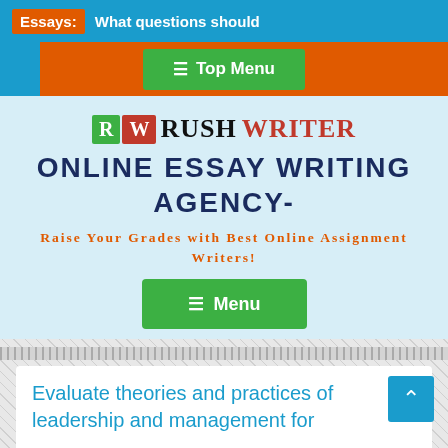Essays: What questions should
[Figure (screenshot): Orange navigation bar with blue left accent and green Top Menu button]
RW RUSH WRITER ONLINE ESSAY WRITING AGENCY-
Raise Your Grades with Best Online Assignment Writers!
[Figure (other): Green Menu button with hamburger icon]
Evaluate theories and practices of leadership and management for